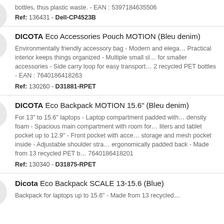bottles, thus plastic waste. - EAN : 5397184635506
Ref: 136431 - Dell-CP4523B
DICOTA Eco Accessories Pouch MOTION (Bleu denim)
Environmentally friendly accessory bag - Modern and elegant design - Practical interior keeps things organized - Multiple small slots for smaller accessories - Side carry loop for easy transport - Made from 2 recycled PET bottles - EAN : 7640186418263
Ref: 130260 - D31881-RPET
DICOTA Eco Backpack MOTION 15.6" (Bleu denim)
For 13" to 15.6" laptops - Laptop compartment padded with high density foam - Spacious main compartment with room for 20 liters and tablet pocket up to 12.9" - Front pocket with accessory storage and mesh pocket inside - Adjustable shoulder straps and ergonomically padded back - Made from 13 recycled PET bottles - EAN : 7640186418201
Ref: 130340 - D31875-RPET
Dicota Eco Backpack SCALE 13-15.6 (Blue)
Backpack for laptops up to 15.6" - Made from 13 recycled PET bottles